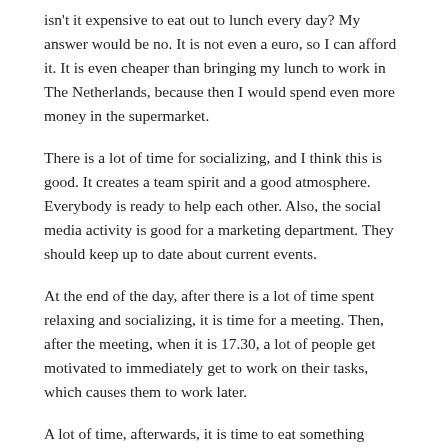isn't it expensive to eat out to lunch every day? My answer would be no. It is not even a euro, so I can afford it. It is even cheaper than bringing my lunch to work in The Netherlands, because then I would spend even more money in the supermarket.
There is a lot of time for socializing, and I think this is good. It creates a team spirit and a good atmosphere. Everybody is ready to help each other. Also, the social media activity is good for a marketing department. They should keep up to date about current events.
At the end of the day, after there is a lot of time spent relaxing and socializing, it is time for a meeting. Then, after the meeting, when it is 17.30, a lot of people get motivated to immediately get to work on their tasks, which causes them to work later.
A lot of time, afterwards, it is time to eat something together. There is a foodcourt that is part of the hotel and we eat there. I have eaten Martabak, which is delicious. It is a sort of